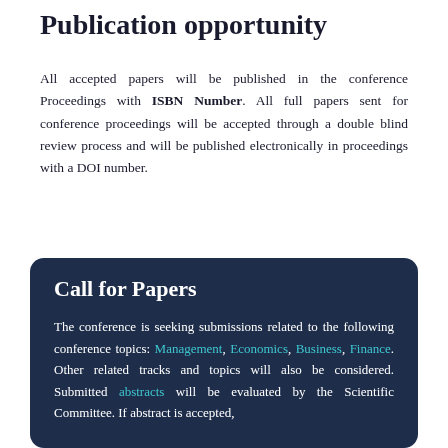Publication opportunity
All accepted papers will be published in the conference Proceedings with ISBN Number. All full papers sent for conference proceedings will be accepted through a double blind review process and will be published electronically in proceedings with a DOI number.
Call for Papers
The conference is seeking submissions related to the following conference topics: Management, Economics, Business, Finance. Other related tracks and topics will also be considered. Submitted abstracts will be evaluated by the Scientific Committee. If abstract is accepted,